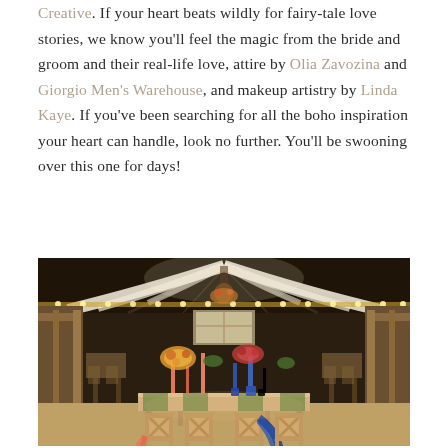Creative. If your heart beats wildly for fairy-tale love stories, we know you'll feel the magic from the bride and groom and their real-life love, attire by Olia Zavozina and Giorgio Men's Warehouse, and makeup artistry by Linda Kaye. If you've been searching for all the boho inspiration your heart can handle, look no further. You'll be swooning over this one for days!
[Figure (photo): Interior of a barn wedding venue decorated with white draped fabric from the ceiling, string lights along the edges, and a decorated head table with colorful flowers, tall candles in blue and coral, and wooden X-back chairs with a blue cloth draped over one chair.]